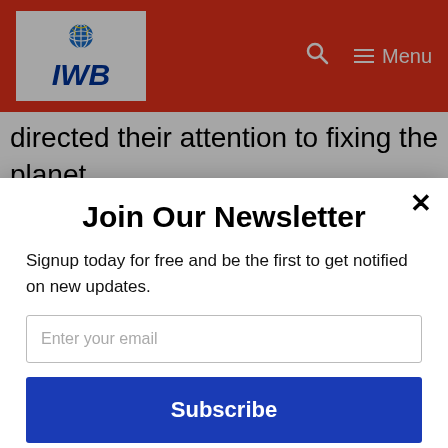IWB — Menu
directed their attention to fixing the planet.
In fact, the bigshots at Davos aren't going to fix anything, except maybe a few
Join Our Newsletter
Signup today for free and be the first to get notified on new updates.
Enter your email
Subscribe
powered by MailMunch